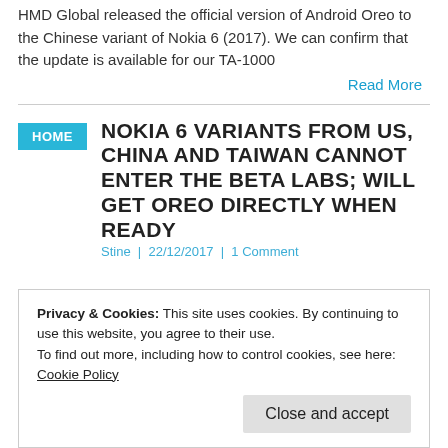HMD Global released the official version of Android Oreo to the Chinese variant of Nokia 6 (2017). We can confirm that the update is available for our TA-1000
Read More
HOME
NOKIA 6 VARIANTS FROM US, CHINA AND TAIWAN CANNOT ENTER THE BETA LABS; WILL GET OREO DIRECTLY WHEN READY
Stine | 22/12/2017 | 1 Comment
Privacy & Cookies: This site uses cookies. By continuing to use this website, you agree to their use.
To find out more, including how to control cookies, see here: Cookie Policy
Close and accept